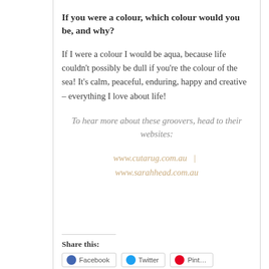If you were a colour, which colour would you be, and why?
If I were a colour I would be aqua, because life couldn't possibly be dull if you're the colour of the sea! It's calm, peaceful, enduring, happy and creative – everything I love about life!
To hear more about these groovers, head to their websites:
www.cutarug.com.au  |  www.sarahhead.com.au
Share this: